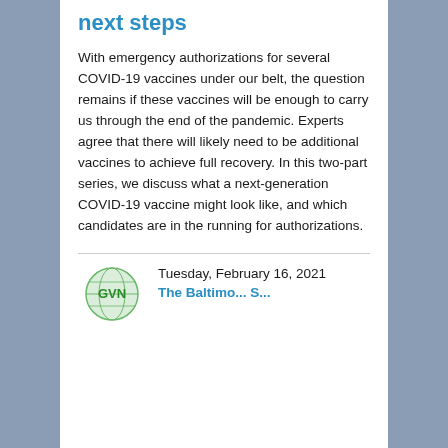next steps
With emergency authorizations for several COVID-19 vaccines under our belt, the question remains if these vaccines will be enough to carry us through the end of the pandemic. Experts agree that there will likely need to be additional vaccines to achieve full recovery. In this two-part series, we discuss what a next-generation COVID-19 vaccine might look like, and which candidates are in the running for authorizations.
Tuesday, February 16, 2021
[Figure (logo): GVN logo - green shield/globe graphic with 'GVN' text in green letters]